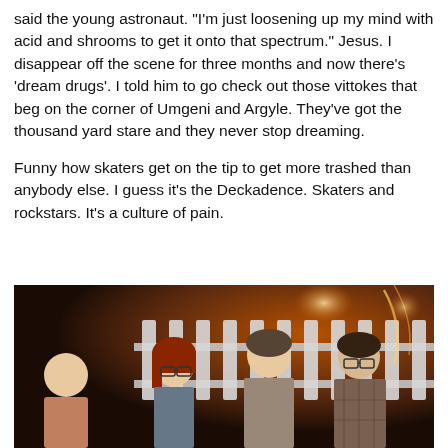said the young astronaut. “I’m just loosening up my mind with acid and shrooms to get it onto that spectrum.” Jesus. I disappear off the scene for three months and now there’s ‘dream drugs’. I told him to go check out those vittokes that beg on the corner of Umgeni and Argyle. They’ve got the thousand yard stare and they never stop dreaming.
Funny how skaters get on the tip to get more trashed than anybody else. I guess it’s the Deckadence. Skaters and rockstars. It’s a culture of pain.
[Figure (photo): Night-time outdoor photo of four young people standing near a white picket fence. There is warm orange/fire light in the background with some bokeh light streaks. A woman with red hair and glasses is visible, along with two men and another person partially visible on the left.]